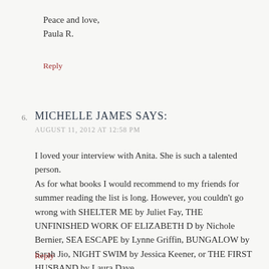Peace and love,
Paula R.
Reply
6. MICHELLE JAMES SAYS:
AUGUST 11, 2012 AT 12:58 PM
I loved your interview with Anita. She is such a talented person.
As for what books I would recommend to my friends for summer reading the list is long. However, you couldn't go wrong with SHELTER ME by Juliet Fay, THE UNFINISHED WORK OF ELIZABETH D by Nichole Bernier, SEA ESCAPE by Lynne Griffin, BUNGALOW by Sarah Jio, NIGHT SWIM by Jessica Keener, or THE FIRST HUSBAND by Laura Dave.
Reply